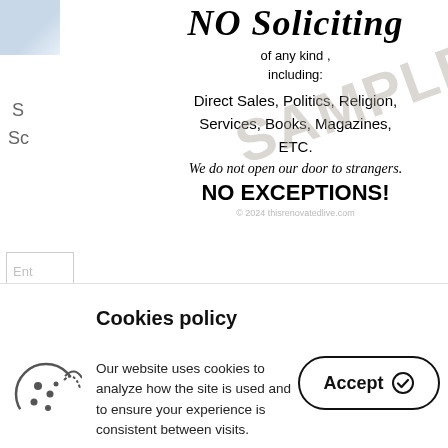[Figure (illustration): Partial logo icon, top left corner, cropped]
S
Sc
[Figure (illustration): No Soliciting sign with SAMPLE watermark. Title: NO Soliciting. Subtitle: of any kind, including: Direct Sales, Politics, Religion, Services, Books, Magazines, ETC. Script: We do not open our door to strangers. Bold: NO EXCEPTIONS! Copyright: © 2024 thisrenovatedlive.com]
Ent
Ent
Subscribe to our newsletter and get this FREE No Soliciting Sign in your inbox shortly after signing up!
Cookies policy
Our website uses cookies to analyze how the site is used and to ensure your experience is consistent between visits.